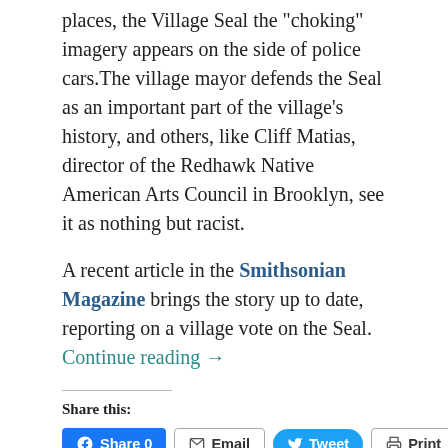places, the Village Seal the "choking" imagery appears on the side of police cars. The village mayor defends the Seal as an important part of the village's history, and others, like Cliff Matias, director of the Redhawk Native American Arts Council in Brooklyn, see it as nothing but racist.
A recent article in the Smithsonian Magazine brings the story up to date, reporting on a village vote on the Seal.  Continue reading →
Share this:
[Figure (other): Social share buttons: Facebook Share 0, Email, Tweet, Print]
Loading...